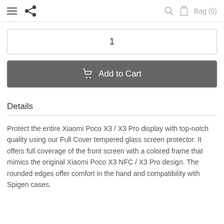≡  •  Bag (0)
1
Add to Cart
Details
Protect the entire Xiaomi Poco X3 / X3 Pro display with top-notch quality using our Full Cover tempered glass screen protector. It offers full coverage of the front screen with a colored frame that mimics the original Xiaomi Poco X3 NFC / X3 Pro design. The rounded edges offer comfort in the hand and compatibility with Spigen cases.